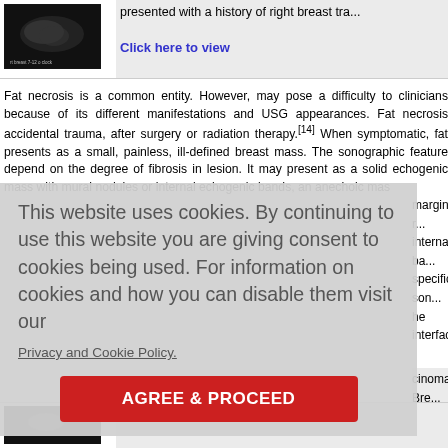[Figure (photo): Ultrasound image of right breast labeled 'rt breast 7-12 o clock']
presented with a history of right breast tra...
Click here to view
Fat necrosis is a common entity. However, may pose a difficulty to clinicians because of its different manifestations and USG appearances. Fat necrosis accidental trauma, after surgery or radiation therapy.[14] When symptomatic, fat presents as a small, painless, ill-defined breast mass. The sonographic feature depend on the degree of fibrosis in lesion. It may present as a solid echogenic mass with mural nodules or internal echogenic bands, an anechoic mas margins r... internal ba... specific son... he interface...
This website uses cookies. By continuing to use this website you are giving consent to cookies being used. For information on cookies and how you can disable them visit our
Privacy and Cookie Policy.
AGREE & PROCEED
cinoma. Bre... lobulated h... ive and spi...
[Figure (photo): Ultrasound image at bottom of page]
Click here to view